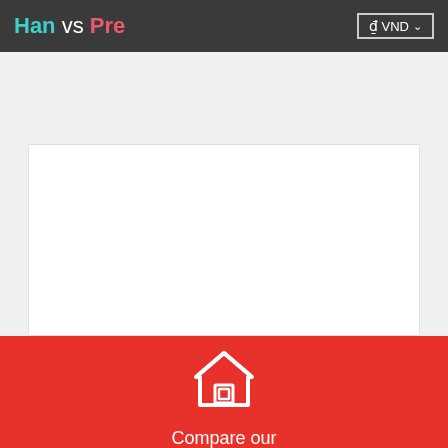Han vs Pre   ₫ VND ∨
[Figure (infographic): Red banner with house icon, text 'Compare our home insurance prices†' and a 'Compare now ›' button]
Compare our home insurance prices†
Compare now ›